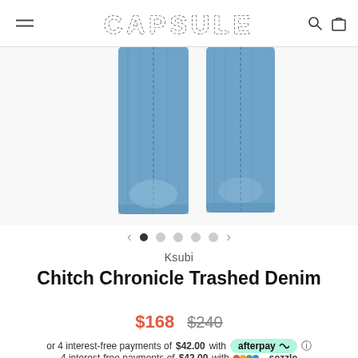CAPSULE
[Figure (photo): Close-up photo of two denim jeans legs (Ksubi Chitch Chronicle Trashed Denim) shown from below the knee, in medium blue wash, photographed against a white background.]
Ksubi
Chitch Chronicle Trashed Denim
$168  $240
or 4 interest-free payments of $42.00 with afterpay
4 interest-free payments of $42.00 with sezzle